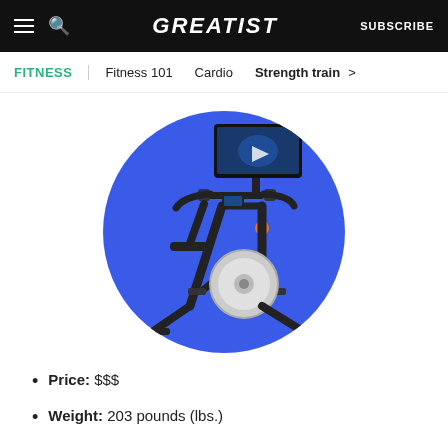GREATIST | SUBSCRIBE
FITNESS | Fitness 101  Cardio  Strength train >
[Figure (photo): A black stationary exercise bike (spin bike) with a large touchscreen display showing a cycling course, set against a blue circular background.]
Price: $$$
Weight: 203 pounds (lbs.)